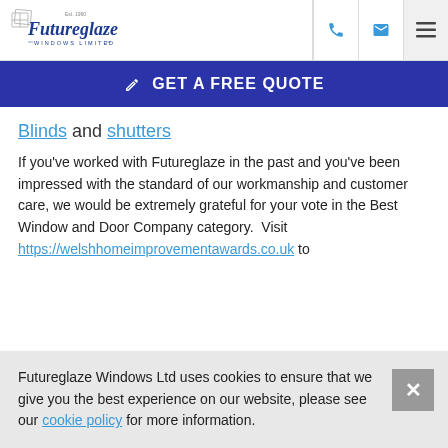Futureglaze Windows Limited — navigation header with phone, email and menu icons
✎ GET A FREE QUOTE
Blinds and shutters
If you've worked with Futureglaze in the past and you've been impressed with the standard of our workmanship and customer care, we would be extremely grateful for your vote in the Best Window and Door Company category.  Visit https://welshhomeimprovementawards.co.uk to
Futureglaze Windows Ltd uses cookies to ensure that we give you the best experience on our website, please see our cookie policy for more information.